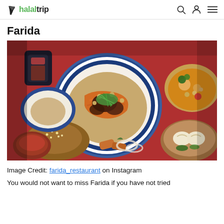halaltrip
Farida
[Figure (photo): Overhead shot of a spread of Central Asian food on a red tablecloth, featuring a large decorative blue-and-white plate piled with rice, shredded carrots, meat, chickpeas, and sliced green onions. Surrounding dishes include a bread roll with sesame seeds, a bowl of soup with vegetables, a steamer basket with dumplings, a cup of tea, and a small plate of fried items with onion rings.]
Image Credit: farida_restaurant on Instagram
You would not want to miss Farida if you have not tried